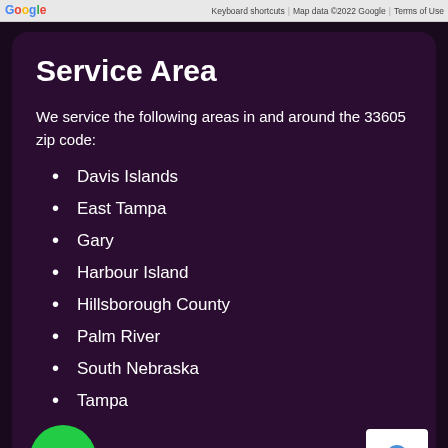Google  Keyboard shortcuts | Map data ©2022 Google | Terms of Use
Service Area
We service the following areas in and around the 33605 zip code:
Davis Islands
East Tampa
Gary
Harbour Island
Hillsborough County
Palm River
South Nebraska
Tampa
[Figure (logo): Green phone call button icon]
[Figure (logo): reCAPTCHA badge with privacy terms]